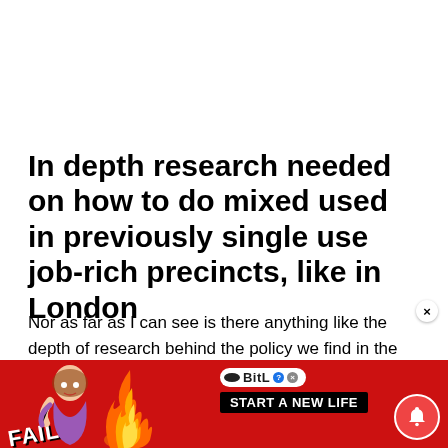In depth research needed on how to do mixed used in previously single use job-rich precincts, like in London
Nor as far as I can see is there anything like the depth of research behind the policy we find in the documentation on “strategic employment land” of the Greater London Authority, which has al…
[Figure (screenshot): Advertisement banner at bottom: red background with FAIL text, cartoon woman, flames, BitLife logo pill, START A NEW LIFE text, close button X, and notification bell icon]